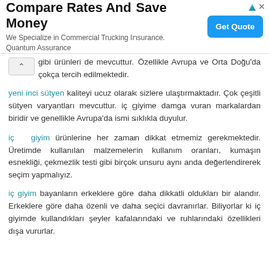[Figure (other): Advertisement banner: Compare Rates And Save Money - We Specialize in Commercial Trucking Insurance. Quantum Assurance. Get Quote button.]
gibi ürünleri de mevcuttur. Özellikle Avrupa ve Orta Doğu'da çokça tercih edilmektedir.
yeni inci sütyen kaliteyi ucuz olarak sizlere ulaştırmaktadır. Çok çeşitli sütyen varyantları mevcuttur. iç giyime damga vuran markalardan biridir ve genellikle Avrupa'da ismi sıklıkla duyulur.
iç giyim ürünlerine her zaman dikkat etmemiz gerekmektedir. Üretimde kullanılan malzemelerin kullanım oranları, kumaşın esnekliği, çekmezlik testi gibi birçok unsuru aynı anda değerlendirerek seçim yapmalıyız.
iç giyim bayanların erkeklere göre daha dikkatli oldukları bir alandır. Erkeklere göre daha özenli ve daha seçici davranırlar. Biliyorlar ki iç giyimde kullandıkları şeyler kafalarındaki ve ruhlarındaki özellikleri dışa vururlar.